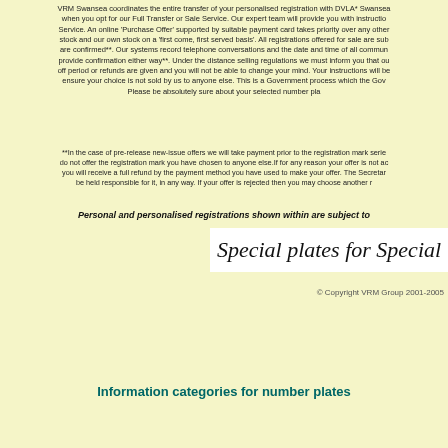VRM Swansea coordinates the entire transfer of your personalised registration with DVLA* Swansea when you opt for our Full Transfer or Sale Service. Our expert team will provide you with instructions Service. An online 'Purchase Offer' supported by suitable payment card takes priority over any other stock and our own stock on a 'first come, first served basis'. All registrations offered for sale are sub are confirmed**. Our systems record telephone conversations and the date and time of all commun provide confirmation either way**. Under the distance selling regulations we must inform you that ou off period or refunds are given and you will not be able to change your mind. Your instructions will be ensure your choice is not sold by us to anyone else. This is a Government process which the Gov Please be absolutely sure about your selected number pl
**In the case of pre-release new-issue offers we will take payment prior to the registration mark seri do not offer the registration mark you have chosen to anyone else.If for any reason your offer is not a you will receive a full refund by the payment method you have used to make your offer. The Secreta be held responsible for it, in any way. If your offer is rejected then you may choose another r
Personal and personalised registrations shown within are subject to
[Figure (other): White box with italic serif text reading 'Special plates for Special']
© Copyright VRM Group 2001-2005
Information categories for number plates